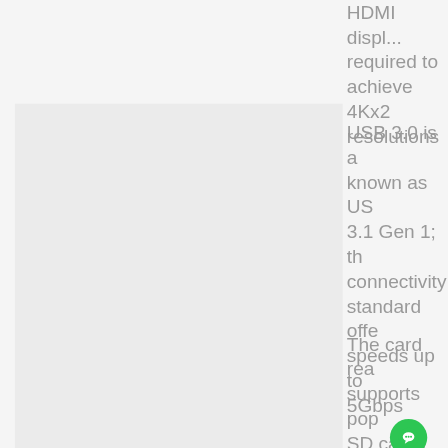HDMI displ... required to achieve 4Kx2 resolutions
[Figure (photo): Light grey rectangular panel or product image on left side of page]
USB 3.0 is a... known as USB 3.1 Gen 1; the connectivity standard offers speeds up to 5Gbps
The card rea... supports pop... SD cards (SD, SDHC a... including UH...